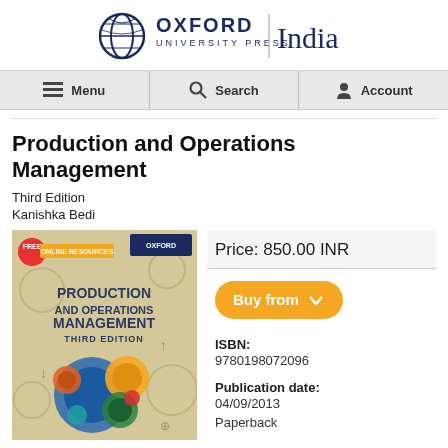[Figure (logo): Oxford University Press India logo with globe icon]
Menu | Search | Account
Production and Operations Management
Third Edition
Kanishka Bedi
[Figure (photo): Book cover of Production and Operations Management, Third Edition by Kanishka Bedi, Oxford University Press, showing colorful gears on a beige background]
Price: 850.00 INR
Buy from
ISBN:
9780198072096
Publication date:
04/09/2013
Paperback